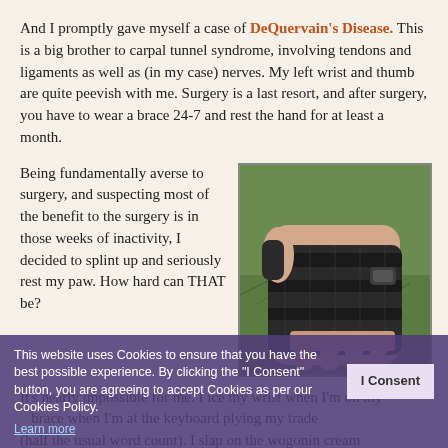And I promptly gave myself a case of DeQuervain's Disease. This is a big brother to carpal tunnel syndrome, involving tendons and ligaments as well as (in my case) nerves. My left wrist and thumb are quite peevish with me. Surgery is a last resort, and after surgery, you have to wear a brace 24-7 and rest the hand for at least a month.
Being fundamentally averse to surgery, and suspecting most of the benefit to the surgery is in those weeks of inactivity, I decided to splint up and seriously rest my paw. How hard can THAT be?
[Figure (photo): A hand wearing a black wrist brace/splint, shown against a green grass background]
It's nearly impossible for me. I ice my wrist when I'm on my ... brace when I'm at the keyboard plying my trade (half the usual word count). I slap on the wogonin cream
This website uses Cookies to ensure that you have the best possible experience. By clicking the "I Consent" button, you are agreeing to accept Cookies as per our Cookies Policy. Learn more